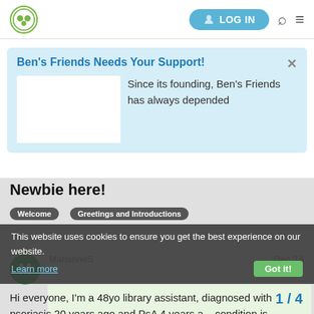LOG IN
Ben's Friends Needs Your Support!
Since its founding, Ben's Friends has always depended
Newbie here!
This website uses cookies to ensure you get the best experience on our website.
Learn more
Got it!
Welcome
Greetings and Introductions
MarianneS   Dec '16
Hi everyone, I'm a 48yo library assistant, diagnosed with psoriasis 20 years ago and PsA 4 years a... condition is currently under control for me...
1 / 4